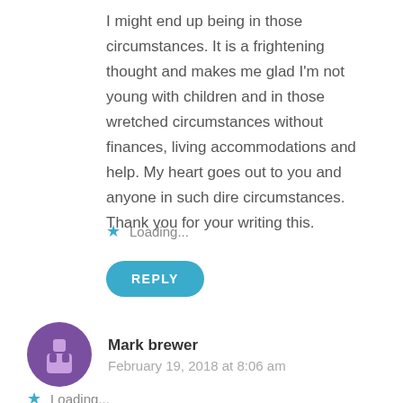I might end up being in those circumstances. It is a frightening thought and makes me glad I'm not young with children and in those wretched circumstances without finances, living accommodations and help. My heart goes out to you and anyone in such dire circumstances. Thank you for your writing this.
Loading...
REPLY
Mark brewer
February 19, 2018 at 8:06 am
Great article jack the tories haven't got a clue.
Loading...